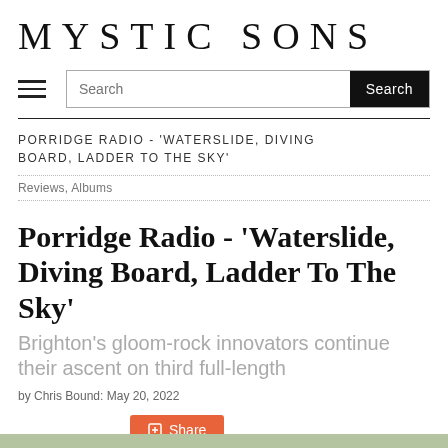MYSTIC SONS
PORRIDGE RADIO - 'WATERSLIDE, DIVING BOARD, LADDER TO THE SKY'
Reviews, Albums
Porridge Radio - 'Waterslide, Diving Board, Ladder To The Sky'
Brighton's gloom-rock innovators continue their ascent on third full-length
by Chris Bound: May 20, 2022